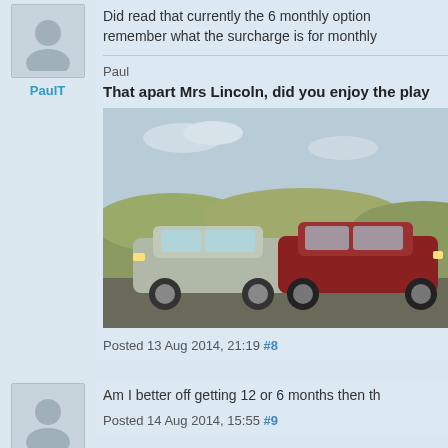Did read that currently the 6 monthly option remember what the surcharge is for monthly
Paul
That apart Mrs Lincoln, did you enjoy the play
[Figure (photo): Two estate/station wagon cars parked side by side on a road with grassy hills in the background. One is silver/grey and one is red/maroon.]
Posted 13 Aug 2014, 21:19 #8
Am I better off getting 12 or 6 months then th
Posted 14 Aug 2014, 15:55 #9